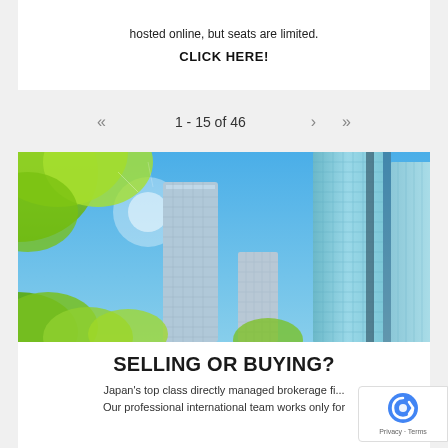hosted online, but seats are limited.
CLICK HERE!
1 - 15 of 46
[Figure (photo): Upward-angle photograph of tall glass skyscrapers against a bright blue sky with green trees in the foreground]
SELLING OR BUYING?
Japan's top class directly managed brokerage fi... Our professional international team works only for